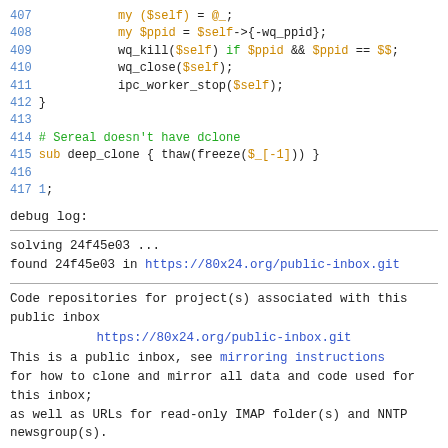[Figure (screenshot): Perl source code snippet, lines 407-417, with syntax highlighting. Line numbers in blue, keywords 'my'/'sub' in orange, variables in orange, comments in green.]
debug log:
solving 24f45e03 ...
found 24f45e03 in https://80x24.org/public-inbox.git
Code repositories for project(s) associated with this public inbox

https://80x24.org/public-inbox.git

This is a public inbox, see mirroring instructions for how to clone and mirror all data and code used for this inbox;
as well as URLs for read-only IMAP folder(s) and NNTP newsgroup(s).